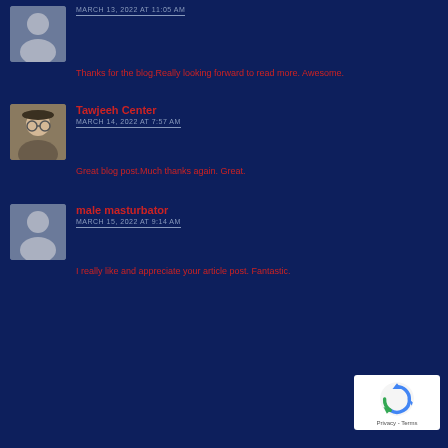[Figure (photo): Gray silhouette avatar icon for anonymous user]
MARCH 13, 2022 AT 11:05 AM
Thanks for the blog.Really looking forward to read more. Awesome.
[Figure (photo): Profile photo of Tawjeeh Center - person wearing cap and glasses]
Tawjeeh Center
MARCH 14, 2022 AT 7:57 AM
Great blog post.Much thanks again. Great.
[Figure (photo): Gray silhouette avatar icon for anonymous user]
male masturbator
MARCH 15, 2022 AT 9:14 AM
I really like and appreciate your article post. Fantastic.
[Figure (other): Google reCAPTCHA badge with Privacy and Terms links]